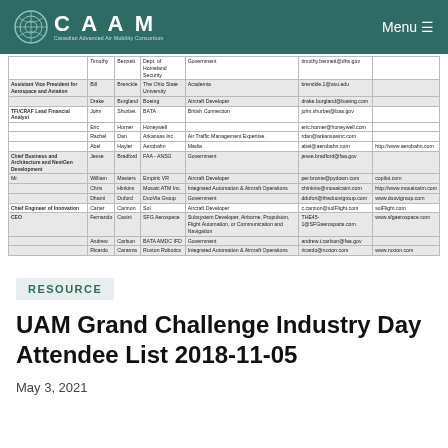CAAM | Canadian Advanced Air Mobility Consortium | Menu
| Role | First | Last | Organization | Sector | Email | Website |
| --- | --- | --- | --- | --- | --- | --- |
|  | Timothy | Bennett | Dept. of Homeland Security | Government | timothy.bennett@dhs.gov |  |
| Assistant Vice President for Aerospace and Aviation | Bill | Brenckle | The Ohio State University | Academia | brenckle.1@osu.edu |  |
|  | Drake | Burgland | Boeing | Aircraft Developer | drake.burgland@boeing.com |  |
| TFI/CRAF Lead Financial Analyst | John | Shurbet | BATA | British Connection | john.shurbet@baa.gov |  |
|  | Eric | Horner | Honeywell |  | eric.horner@honeywell.com |  |
|  | Rachel | Dan | Arkansas Inc | Air Traffic Management Expertise | rdan@arkansasinc.com |  |
|  | Abel | Hayler | Aerobahn | Media | abel@aerobahn.com | http://www.aerobahn.com |
| Chief Business and Architecture and NextGen Development | Jesse | Bradford | FAA - ANSG | Government | jesse.bradford@faa.gov |  |
| Mr. | William | Masters | Empiric VR | Aircraft Developer | per.bronte@pydown.com | copilot.com |
|  | Chris | Hinkins | Mosaic ATM Inc. | Integrated Automation & Aircraft Operations | chinkins@mosaicatm.com | http://www.mosaicatm.com |
|  | Dhami | Duford | DuoVia Group | Government | ddufort@theduovigroup.com | www.duovigroup.com |
| Chief Engineer of Innovation | Carter | Cannon | Sol | Aircraft Developer | c.cannon@solFlight.com | solFlight.com |
| CEO | Fernando | Casini | SFG Aerospace | Subsystem Developer, Airborne, Propulsion, Flight Automation, or Communication and Navigation | THE45-1@SFGaerospace.com | www.sfgaerospace.com |
|  | Andrew | Carlson | BATA AMDC IFD | Government | andrew.t.carlson@faa.gov |  |
|  | Ricardo | Caranza | Ruxton Robotics | Integrated Automation & Aircraft Operations | ricardo@ruxton.com | www.ruxton.com |
RESOURCE
UAM Grand Challenge Industry Day Attendee List 2018-11-05
May 3, 2021